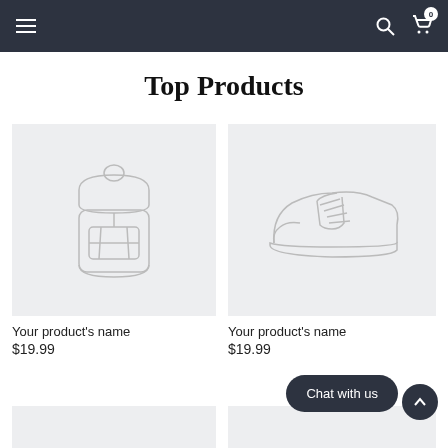Navigation bar with menu, search, and cart icons
Top Products
[Figure (illustration): Outline illustration of a backpack on a light gray background]
Your product's name
$19.99
[Figure (illustration): Outline illustration of a sneaker/shoe on a light gray background]
Your product's name
$19.99
Chat with us